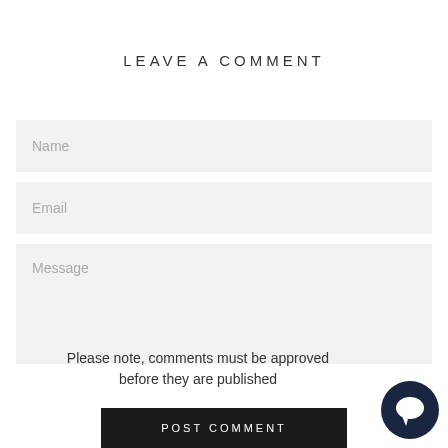LEAVE A COMMENT
Name
Email
Message
Please note, comments must be approved before they are published
[Figure (illustration): Chat bubble icon, dark navy circle with speech bubble]
POST COMMENT